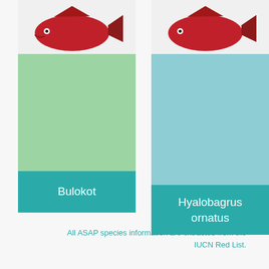[Figure (illustration): Card with fish illustration on light green background, labeled Bulokot]
[Figure (illustration): Card with fish illustration on light teal/blue background, labeled Hyalobagrus ornatus]
All ASAP species information are extracted from the IUCN Red List.